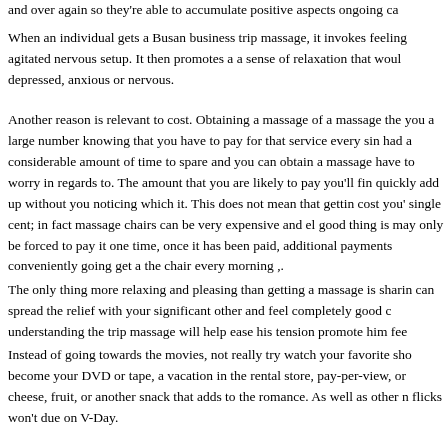and over again so they're able to accumulate positive aspects ongoing ca...
When an individual gets a Busan business trip massage, it invokes feeling agitated nervous setup. It then promotes a a sense of relaxation that would depressed, anxious or nervous.
Another reason is relevant to cost. Obtaining a massage of a massage the you a large number knowing that you have to pay for that service every sin had a considerable amount of time to spare and you can obtain a massage have to worry in regards to. The amount that you are likely to pay you'll fin quickly add up without you noticing which it. This does not mean that gettin cost you' single cent; in fact massage chairs can be very expensive and el good thing is may only be forced to pay it one time, once it has been paid, additional payments conveniently going get a the chair every morning ,.
The only thing more relaxing and pleasing than getting a massage is sharin can spread the relief with your significant other and feel completely good c understanding the trip massage will help ease his tension promote him fee
Instead of going towards the movies, not really try watch your favorite show become your DVD or tape, a vacation in the rental store, pay-per-view, or cheese, fruit, or another snack that adds to the romance. As well as other n flicks won't due on V-Day.